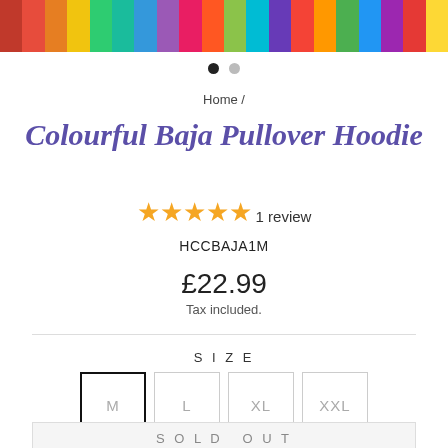[Figure (photo): Top portion of a colourful striped Baja pullover hoodie with multicolour horizontal stripes]
Home /
Colourful Baja Pullover Hoodie
★★★★★ 1 review
HCCBAJA1M
£22.99
Tax included.
SIZE
M  L  XL  XXL
SOLD OUT